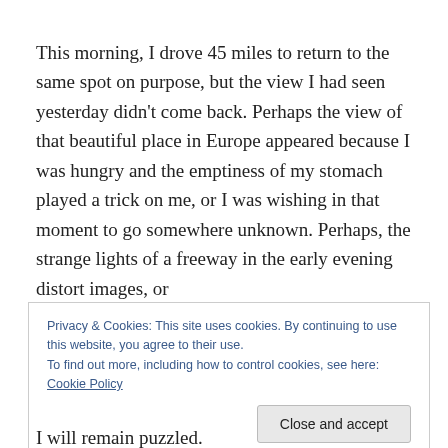This morning, I drove 45 miles to return to the same spot on purpose, but the view I had seen yesterday didn't come back. Perhaps the view of that beautiful place in Europe appeared because I was hungry and the emptiness of my stomach played a trick on me, or I was wishing in that moment to go somewhere unknown. Perhaps, the strange lights of a freeway in the early evening distort images, or
Privacy & Cookies: This site uses cookies. By continuing to use this website, you agree to their use.
To find out more, including how to control cookies, see here: Cookie Policy
[Close and accept]
I will remain puzzled.